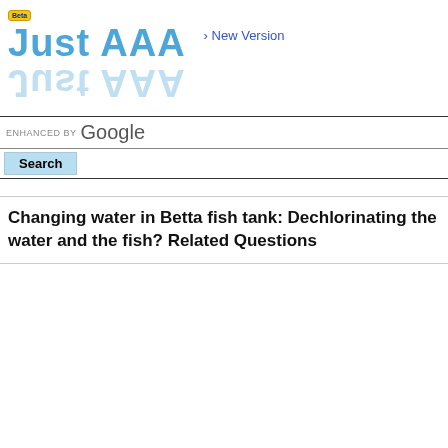[Figure (logo): Just AAA logo with Beta badge, blue stylized text with reflection effect, and 'New Version' link]
[Figure (screenshot): Google custom search bar with 'ENHANCED BY Google' text and Search button]
Changing water in Betta fish tank: Dechlorinating the water and the fish? Related Questions